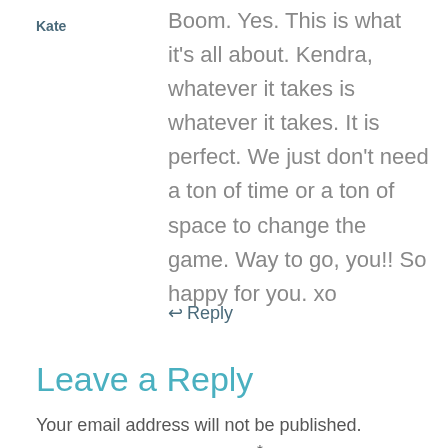Kate
Boom. Yes. This is what it’s all about. Kendra, whatever it takes is whatever it takes. It is perfect. We just don’t need a ton of time or a ton of space to change the game. Way to go, you!! So happy for you. xo
↩ Reply
Leave a Reply
Your email address will not be published. Required fields are marked *